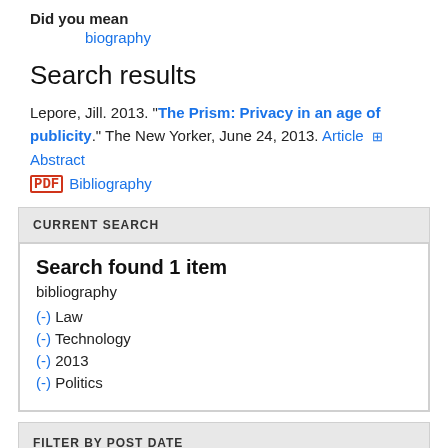Did you mean
biography
Search results
Lepore, Jill. 2013. "The Prism: Privacy in an age of publicity." The New Yorker, June 24, 2013. Article + Abstract
[PDF icon] Bibliography
CURRENT SEARCH
Search found 1 item
bibliography
(-) Law
(-) Technology
(-) 2013
(-) Politics
FILTER BY POST DATE